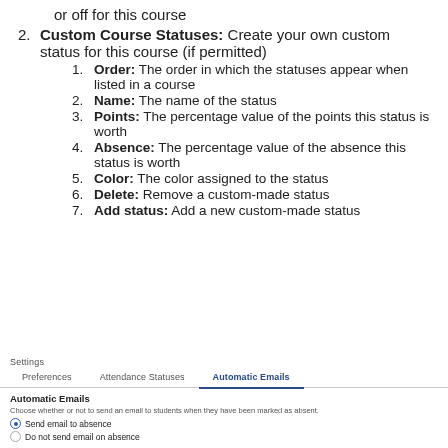or off for this course
2. Custom Course Statuses: Create your own custom status for this course (if permitted)
1. Order: The order in which the statuses appear when listed in a course
2. Name: The name of the status
3. Points: The percentage value of the points this status is worth
4. Absence: The percentage value of the absence this status is worth
5. Color: The color assigned to the status
6. Delete: Remove a custom-made status
7. Add status: Add a new custom-made status
Settings
[Figure (screenshot): Settings panel with tabs: Preferences, Attendance Statuses, Automatic Emails (active). Below: Automatic Emails section with description and radio buttons for 'Send email to absence' (selected) and 'Do not send email on absence'.]